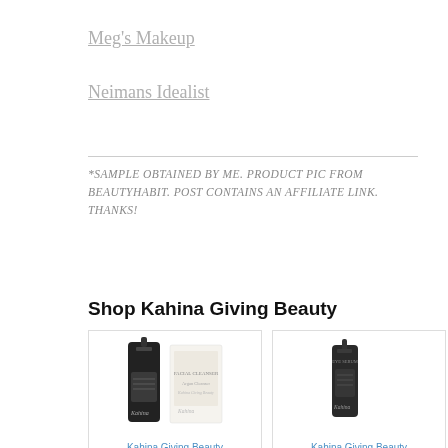Meg's Makeup
Neimans Idealist
*SAMPLE OBTAINED BY ME. PRODUCT PIC FROM BEAUTYHABIT. POST CONTAINS AN AFFILIATE LINK. THANKS!
Shop Kahina Giving Beauty
[Figure (photo): Product photo of Kahina Giving Beauty facial cleanser bottle and box]
Kahina Giving Beauty
[Figure (photo): Product photo of Kahina Giving Beauty serum bottle]
Kahina Giving Beauty